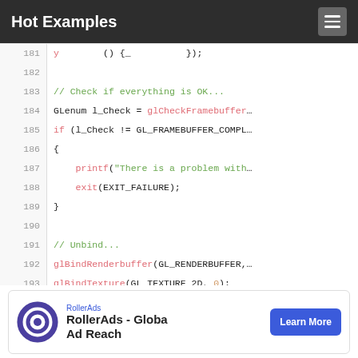Hot Examples
[Figure (screenshot): Code editor showing C/OpenGL code lines 181-194 with syntax highlighting. Lines include glCheckFramebuffer, if check for GL_FRAMEBUFFER_COMPLETE, printf error, exit(EXIT_FAILURE), glBindRenderbuffer, glBindTexture, glBindFramebuffer calls.]
[Figure (other): RollerAds advertisement banner showing RollerAds logo, text 'RollerAds - Global Ad Reach' and a 'Learn More' blue button.]